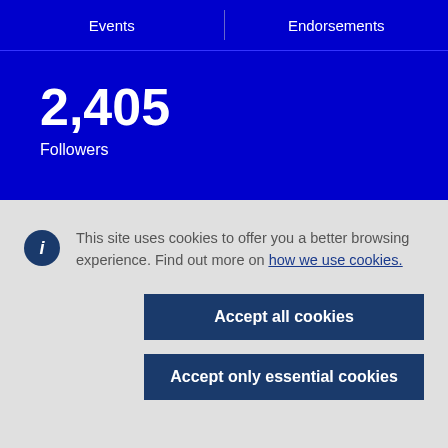Events | Endorsements
2,405
Followers
This site uses cookies to offer you a better browsing experience. Find out more on how we use cookies.
Accept all cookies
Accept only essential cookies